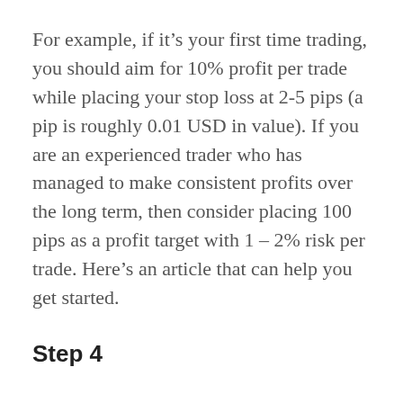For example, if it's your first time trading, you should aim for 10% profit per trade while placing your stop loss at 2-5 pips (a pip is roughly 0.01 USD in value). If you are an experienced trader who has managed to make consistent profits over the long term, then consider placing 100 pips as a profit target with 1 – 2% risk per trade. Here's an article that can help you get started.
Step 4